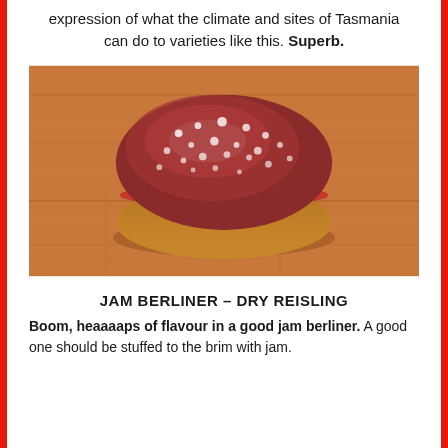expression of what the climate and sites of Tasmania can do to varieties like this. Superb.
[Figure (photo): A jam berliner (jam doughnut) dusted with powdered sugar and raspberry jam visible around the middle, sitting on a warm-toned wooden surface.]
JAM BERLINER – DRY REISLING
Boom, heaaaaps of flavour in a good jam berliner. A good one should be stuffed to the brim with jam.